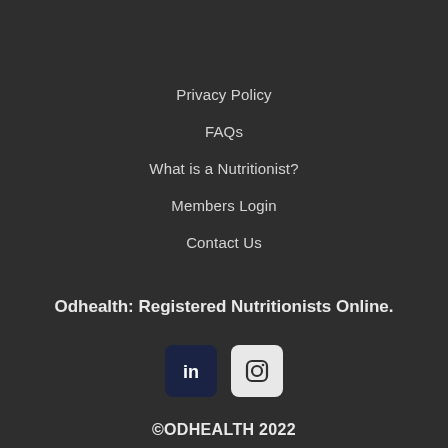Privacy Policy
FAQs
What is a Nutritionist?
Members Login
Contact Us
Odhealth: Registered Nutritionists Online.
[Figure (logo): LinkedIn logo icon in dark navy square with rounded corners]
[Figure (logo): Instagram logo icon in light square with rounded corners]
©ODHEALTH 2022